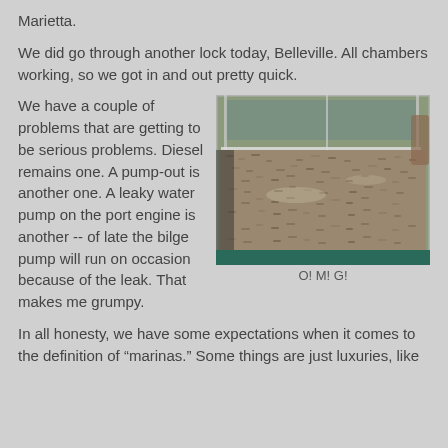Marietta.
We did go through another lock today, Belleville. All chambers working, so we got in and out pretty quick.
We have a couple of problems that are getting to be serious problems. Diesel remains one. A pump-out is another one. A leaky water pump on the port engine is another -- of late the bilge pump will run on occasion because of the leak. That makes me grumpy.
[Figure (photo): View through a boat windshield showing a large area completely covered with dead fish (mayflies or similar insects), with water visible in the background and teal-colored boat edge at bottom.]
O! M! G!
In all honesty, we have some expectations when it comes to the definition of "marinas." Some things are just luxuries, like